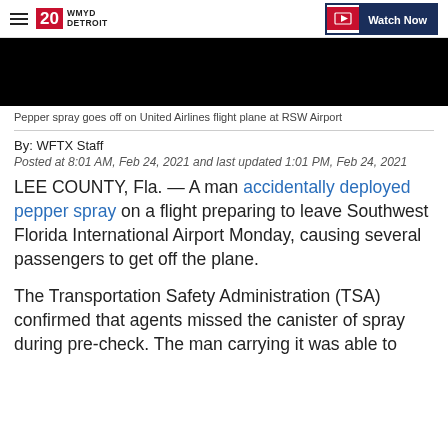20 WMYD DETROIT | Watch Now
[Figure (photo): Black video thumbnail/still frame from a news video]
Pepper spray goes off on United Airlines flight plane at RSW Airport
By: WFTX Staff
Posted at 8:01 AM, Feb 24, 2021 and last updated 1:01 PM, Feb 24, 2021
LEE COUNTY, Fla. — A man accidentally deployed pepper spray on a flight preparing to leave Southwest Florida International Airport Monday, causing several passengers to get off the plane.
The Transportation Safety Administration (TSA) confirmed that agents missed the canister of spray during pre-check. The man carrying it was able to